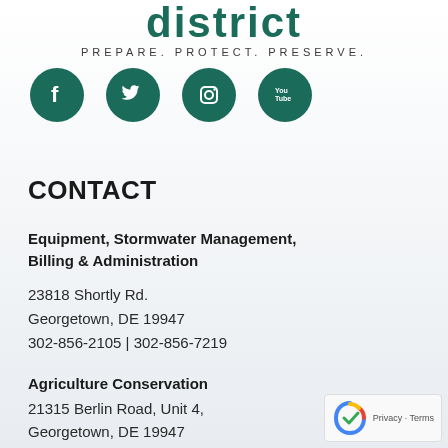[Figure (logo): District logo text in dark teal with tagline PREPARE. PROTECT. PRESERVE.]
[Figure (illustration): Four social media icons (Facebook, Twitter, Instagram, YouTube) as white icons on dark teal circles]
CONTACT
Equipment, Stormwater Management, Billing & Administration
23818 Shortly Rd.
Georgetown, DE 19947
302-856-2105 | 302-856-7219
Agriculture Conservation
21315 Berlin Road, Unit 4,
Georgetown, DE 19947
302-856-3990 ext 3